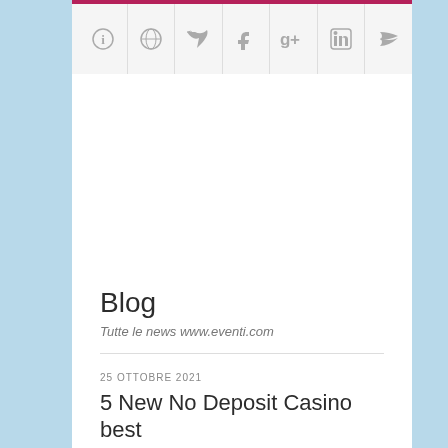Navigation bar with icons: info, globe, twitter, facebook, google+, linkedin, rss
[Figure (logo): EVENTIBS logo with cyan/blue EVENTI text and dark red IBS text, with a martini glass icon replacing the T]
Select a page
Blog
Tutte le news www.eventi.com
25 OTTOBRE 2021
5 New No Deposit Casino best